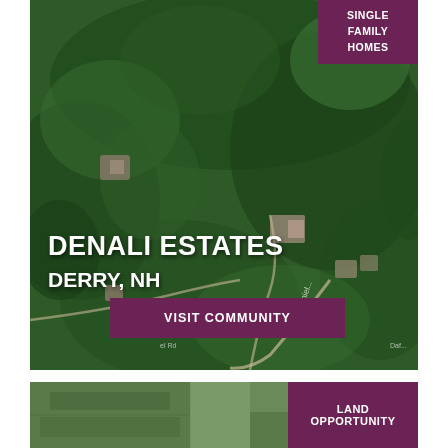[Figure (map): Aerial satellite view of Denali Estates community in Derry, NH showing forested land with roads and some structures visible]
SINGLE FAMILY
HOMES
DENALI ESTATES
DERRY, NH
VISIT COMMUNITY
[Figure (photo): Aerial view of land parcel]
LAND OPPORTUNITY